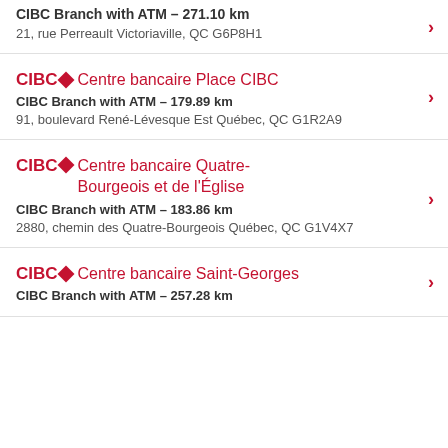CIBC Branch with ATM - 271.10 km
21, rue Perreault Victoriaville, QC G6P8H1
Centre bancaire Place CIBC
CIBC Branch with ATM - 179.89 km
91, boulevard René-Lévesque Est Québec, QC G1R2A9
Centre bancaire Quatre-Bourgeois et de l'Église
CIBC Branch with ATM - 183.86 km
2880, chemin des Quatre-Bourgeois Québec, QC G1V4X7
Centre bancaire Saint-Georges
CIBC Branch with ATM - 257.28 km